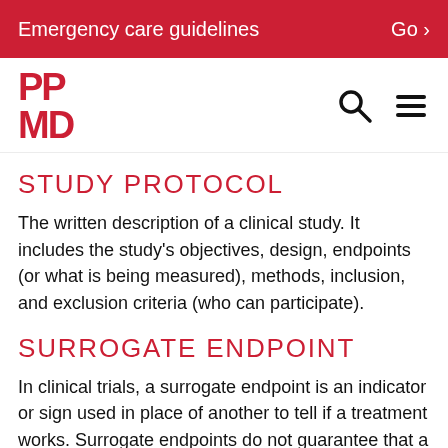Emergency care guidelines   Go >
[Figure (logo): PPMD logo in red with search and hamburger menu icons]
STUDY PROTOCOL
The written description of a clinical study. It includes the study's objectives, design, endpoints (or what is being measured), methods, inclusion, and exclusion criteria (who can participate).
SURROGATE ENDPOINT
In clinical trials, a surrogate endpoint is an indicator or sign used in place of another to tell if a treatment works. Surrogate endpoints do not guarantee that a